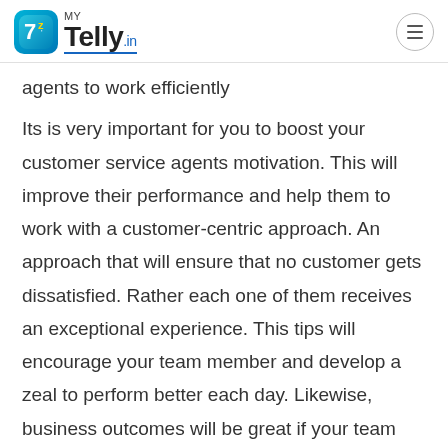MY Telly.in
agents to work efficiently
Its is very important for you to boost your customer service agents motivation. This will improve their performance and help them to work with a customer-centric approach. An approach that will ensure that no customer gets dissatisfied. Rather each one of them receives an exceptional experience. This tips will encourage your team member and develop a zeal to perform better each day. Likewise, business outcomes will be great if your team and customers stay happy.